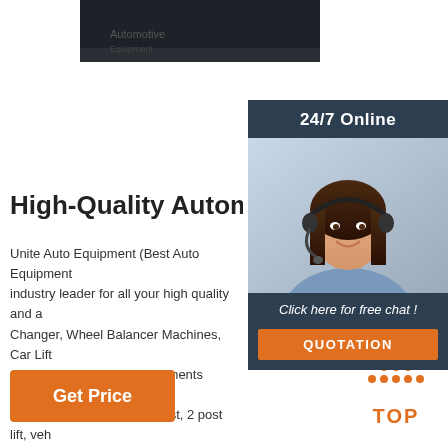[Figure (photo): Dark horizontal banner image, partial view of automotive equipment or vehicle in dark tones]
[Figure (photo): 24/7 Online sidebar panel with photo of smiling woman wearing headset, customer service representative, with 'Click here for free chat!' text and orange QUOTATION button]
High-Quality Automotive Equip
Unite Auto Equipment (Best Auto Equipment industry leader for all your high quality and a Changer, Wheel Balancer Machines, Car Lift Alignment, and Shop Equipments needs.If yo searching for car lift, car hoist, 2 post lift, veh lifts we have it and more.
[Figure (other): Orange 'Get Price' button]
[Figure (other): Orange TOP arrow button with dots arranged in triangle pattern]